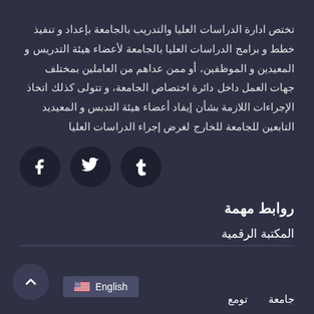تختص ادارة الدراسات العليا والتدريب بالجامعة بإعداد و تنفيذ خطط و برامج الدراسات العليا بالجامعة لأعضاء هيئة التدريس و المعيدين و الموظفين، أو ممن عداهم من العاملين بمختلف جهات العمل داخل دائرة اختصاص الجامعة، و تتولى كذلك اتخاذ الإجراءات اللازمة بشأن إيفاد أعضاء هيئة التدبس و المعيديد التابعين للجامعة للخارج لغرض إجراء الدراسات العليا
[Figure (other): Social media icons: Facebook (f), Twitter (bird), Tumblr (t) — three dark circles with white icons]
روابط مهمة
المكتبة الرقمية
جامعة
تومع